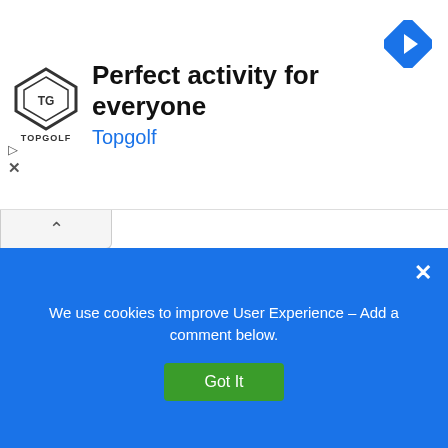[Figure (screenshot): Topgolf advertisement banner with logo and navigation arrow icon. Text: 'Perfect activity for everyone' and 'Topgolf']
MOST RECENT COMMENTS
John novak on Phillipsburg Mall NJ Hours
When will they knock it down already it has. Been...
David A Bice on Golden Corral Menu Prices
What is the grilled meat for Memorial Day weekend...
Sair Raw on 2022 Store Holiday & Mall...
Toured mall Sat. Impressed, clean, we...
READ PREVIOUS POST:
Waterloo Premium Ou...
We use cookies to improve User Experience – Add a comment below.
Got It